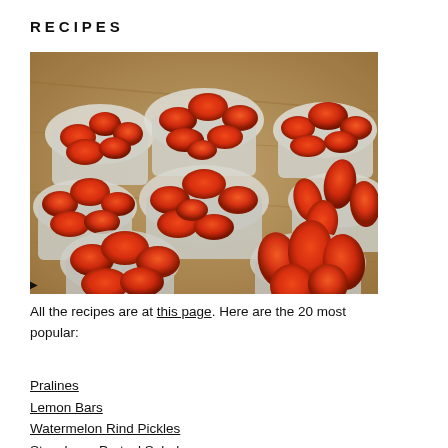RECIPES
[Figure (photo): Overhead photo of many small baskets and containers filled with red plum/roma tomatoes arranged on a wooden surface at a market]
All the recipes are at this page. Here are the 20 most popular:
Pralines
Lemon Bars
Watermelon Rind Pickles
Strawberry Pretzel Salad